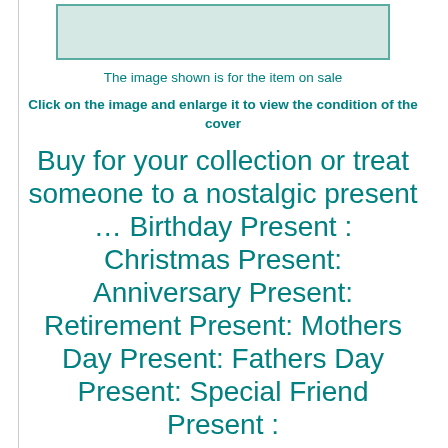[Figure (other): Light green/teal bordered image placeholder box]
The image shown is for the item on sale
Click on the image and enlarge it to view the condition of the cover
Buy for your collection or treat someone to a nostalgic present … Birthday Present : Christmas Present: Anniversary Present: Retirement Present: Mothers Day Present: Fathers Day Present: Special Friend Present :